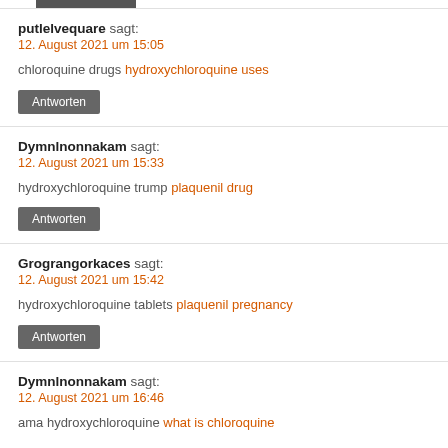putlelvequare sagt:
12. August 2021 um 15:05
chloroquine drugs hydroxychloroquine uses
Antworten
Dymnlnonnakam sagt:
12. August 2021 um 15:33
hydroxychloroquine trump plaquenil drug
Antworten
Grograngorkaces sagt:
12. August 2021 um 15:42
hydroxychloroquine tablets plaquenil pregnancy
Antworten
Dymnlnonnakam sagt:
12. August 2021 um 16:46
ama hydroxychloroquine what is chloroquine